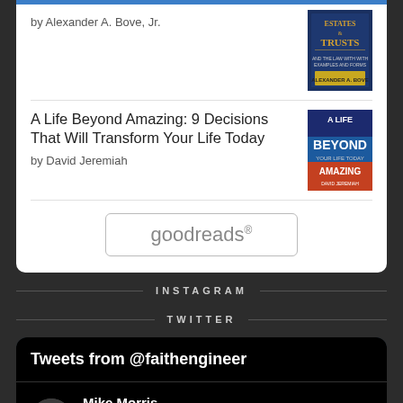by Alexander A. Bove, Jr.
A Life Beyond Amazing: 9 Decisions That Will Transform Your Life Today
by David Jeremiah
[Figure (screenshot): Goodreads button/logo]
INSTAGRAM
TWITTER
Tweets from @faithengineer
Mike Morris
@faithengineer · Jan 22
Looking for a good book to read?